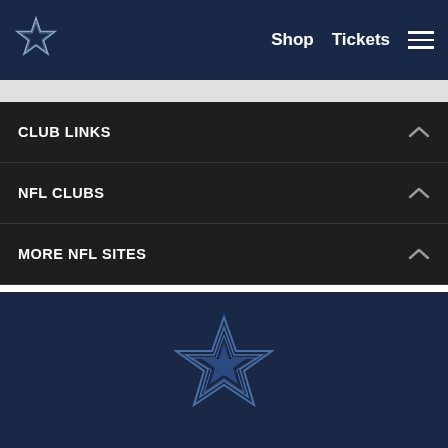Dallas Cowboys navigation header with logo, Shop, Tickets, and menu icon
CLUB LINKS
NFL CLUBS
MORE NFL SITES
Download apps
[Figure (logo): Dallas Cowboys star logo in navy blue footer]